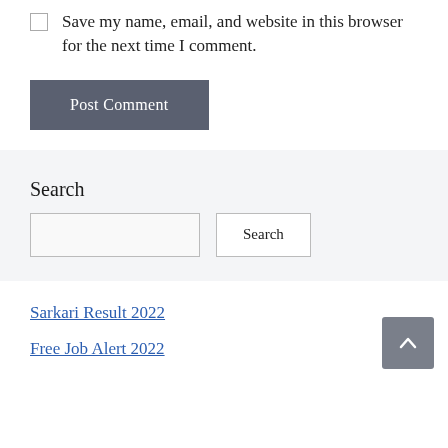Save my name, email, and website in this browser for the next time I comment.
Post Comment
Search
Search
Sarkari Result 2022
Free Job Alert 2022